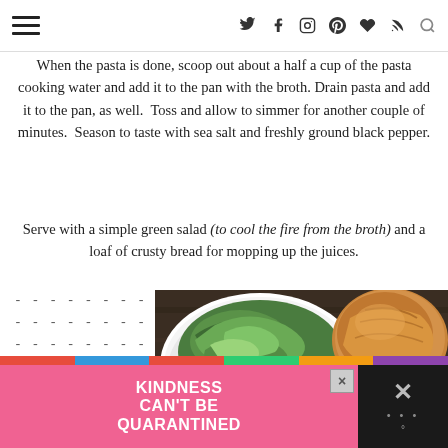Navigation and social icons header
When the pasta is done, scoop out about a half a cup of the pasta cooking water and add it to the pan with the broth. Drain pasta and add it to the pan, as well.  Toss and allow to simmer for another couple of minutes.  Season to taste with sea salt and freshly ground black pepper.
Serve with a simple green salad (to cool the fire from the broth) and a loaf of crusty bread for mopping up the juices.
[Figure (photo): Photo of a white bowl filled with green salad greens and a round crusty bread loaf on a dark wooden surface, with another white bowl partially visible at the bottom.]
This is my
[Figure (infographic): Advertisement banner with pink background reading KINDNESS CAN'T BE QUARANTINED with colorful top bar and close/dismiss buttons]